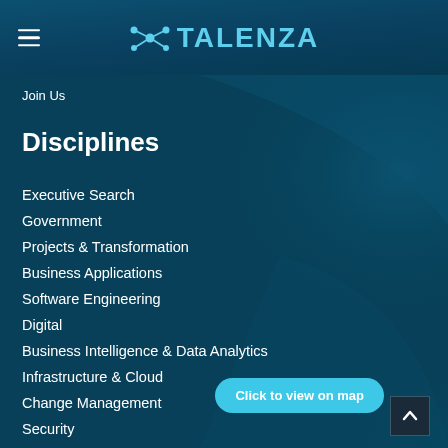Talenza
Join Us
Disciplines
Executive Search
Government
Projects & Transformation
Business Applications
Software Engineering
Digital
Business Intelligence & Data Analytics
Infrastructure & Cloud
Change Management
Security
Click to view on map